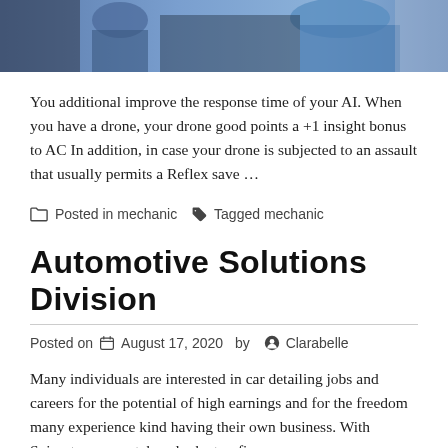[Figure (photo): Partial photo strip at top showing people, appears to be automotive/mechanic related scene with blue tones]
You additional improve the response time of your AI. When you have a drone, your drone good points a +1 insight bonus to AC In addition, in case your drone is subjected to an assault that usually permits a Reflex save …
Posted in mechanic  Tagged mechanic
Automotive Solutions Division
Posted on August 17, 2020  by  Clarabelle
Many individuals are interested in car detailing jobs and careers for the potential of high earnings and for the freedom many experience kind having their own business. With Spirent, you can take a look at, refine